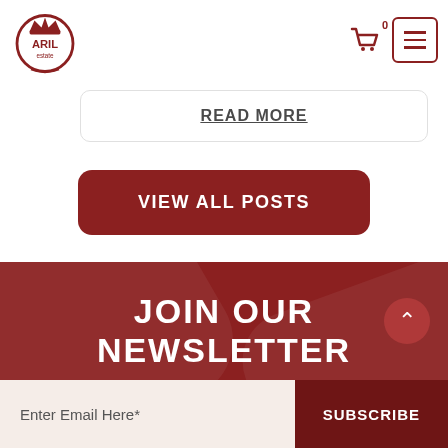[Figure (logo): Aril Estate logo — circular red emblem with crown, text ARIL estate]
READ MORE
VIEW ALL POSTS
JOIN OUR NEWSLETTER
Subscribe To Our Newsletter To Get The Latest Update To Your Inbox
Enter Email Here*
SUBSCRIBE